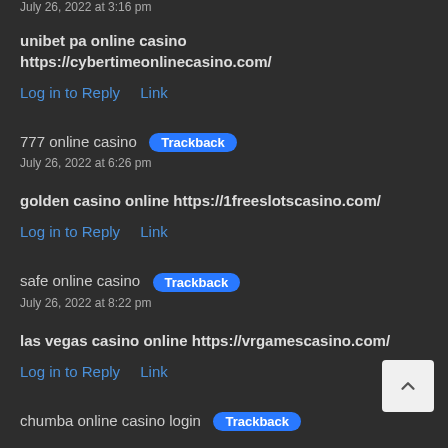July 26, 2022 at 3:16 pm
unibet pa online casino https://cybertimeonlinecasino.com/
Log in to Reply    Link
777 online casino  Trackback
July 26, 2022 at 6:26 pm
golden casino online https://1freeslotscasino.com/
Log in to Reply    Link
safe online casino  Trackback
July 26, 2022 at 8:22 pm
las vegas casino online https://vrgamescasino.com/
Log in to Reply    Link
chumba online casino login  Trackback